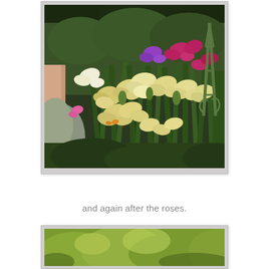[Figure (photo): Garden photograph showing blooming iris flowers in yellow, white, purple, and magenta/red colors, with lush green foliage, surrounded by other garden plants. A green obelisk/trellis structure is visible on the right side. Dense trees form a dark background.]
and again after the roses.
[Figure (photo): Partially visible garden photograph showing yellow-green foliage at the bottom of the page, cut off.]